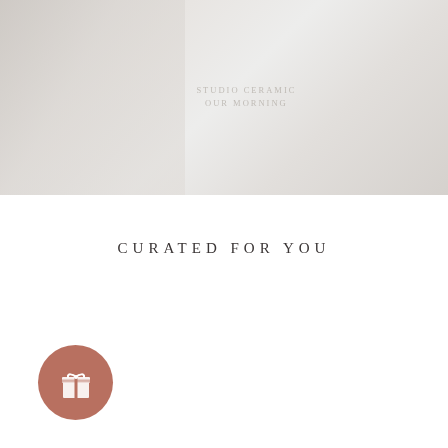[Figure (photo): A large faded/washed-out background image with faint text overlay reading something like 'STUDIO CERAMIC OUR MORNING' in a light serif font. The image appears to show interior or product scene with very light, almost white tones.]
CURATED FOR YOU
[Figure (illustration): A round terracotta/dusty rose colored circle button with a white gift box icon (present with ribbon and bow) in the center.]